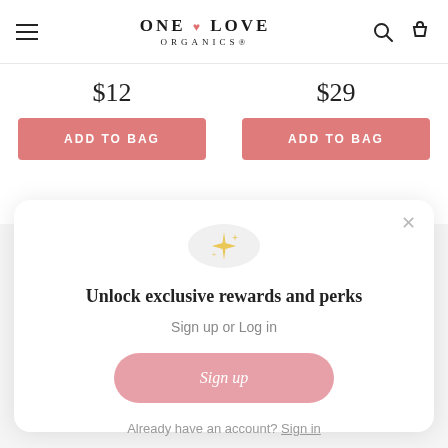ONE ♥ LOVE ORGANICS®
$12
$29
ADD TO BAG
ADD TO BAG
Unlock exclusive rewards and perks
Sign up or Log in
Sign up
Already have an account? Sign in